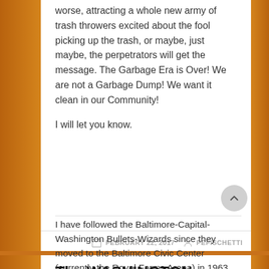worse, attracting a whole new army of trash throwers excited about the fool picking up the trash, or maybe, just maybe, the perpetrators will get the message. The Garbage Era is Over! We are not a Garbage Dump! We want it clean in our Community!
I will let you know.
FEBRUARY 22, 2017   PEFISCHETTI
The WASHINGTON WIZARDS at the ALL-STAR break
I have followed the Baltimore-Capital-Washington Bullets-Wizards since they moved to the Baltimore Civic Center (currently the Royal Farms Arena) in 1963. At the time, I was ten, and a big Football and Baseball fan, but